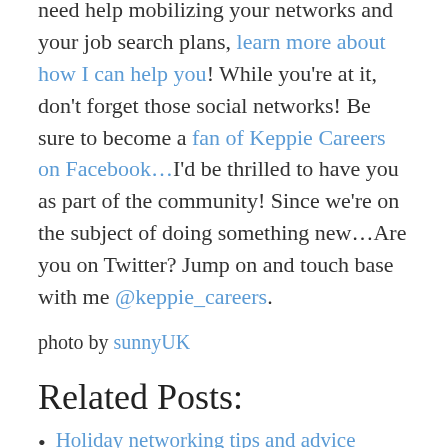need help mobilizing your networks and your job search plans, learn more about how I can help you! While you're at it, don't forget those social networks! Be sure to become a fan of Keppie Careers on Facebook…I'd be thrilled to have you as part of the community! Since we're on the subject of doing something new…Are you on Twitter? Jump on and touch base with me @keppie_careers.
photo by sunnyUK
Related Posts:
Holiday networking tips and advice